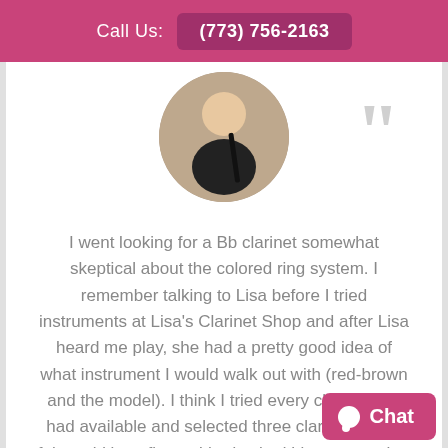Call Us: (773) 756-2163
[Figure (photo): Circular profile photo of a woman holding a clarinet, with a brick wall background]
I went looking for a Bb clarinet somewhat skeptical about the colored ring system.  I remember talking to Lisa before I tried instruments at Lisa's Clarinet Shop and after Lisa heard me play, she had a pretty good idea of what instrument I would walk out with (red-brown and the model).  I think I tried every clarinet she had available and selected three clarinets that I felt could best fit me.  I had asked Lisa not to what color the rings were when I tried each